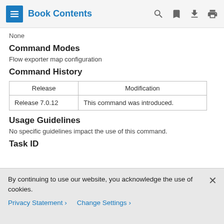Book Contents
None
Command Modes
Flow exporter map configuration
Command History
| Release | Modification |
| --- | --- |
| Release 7.0.12 | This command was introduced. |
Usage Guidelines
No specific guidelines impact the use of this command.
Task ID
By continuing to use our website, you acknowledge the use of cookies.
Privacy Statement > Change Settings >